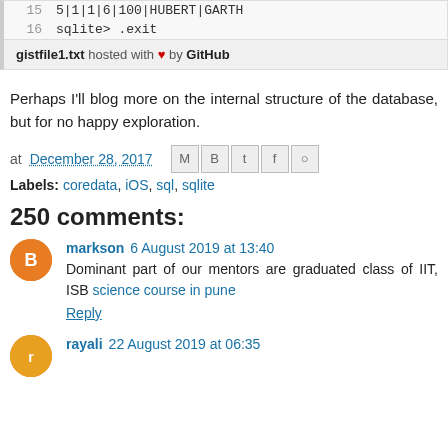15    5|1|1|6|100|HUBERT|GARTH
16    sqlite> .exit
gistfile1.txt hosted with ♥ by GitHub
Perhaps I'll blog more on the internal structure of the database, but for now happy exploration.
at December 28, 2017
Labels: coredata, iOS, sql, sqlite
250 comments:
markson 6 August 2019 at 13:40
Dominant part of our mentors are graduated class of IIT, ISB science course in pune
Reply
rayali  22 August 2019 at 06:35